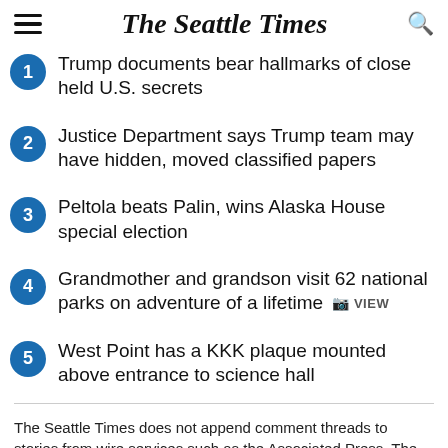The Seattle Times
Trump documents bear hallmarks of close held U.S. secrets
Justice Department says Trump team may have hidden, moved classified papers
Peltola beats Palin, wins Alaska House special election
Grandmother and grandson visit 62 national parks on adventure of a lifetime  VIEW
West Point has a KKK plaque mounted above entrance to science hall
The Seattle Times does not append comment threads to stories from wire services such as the Associated Press, The New York